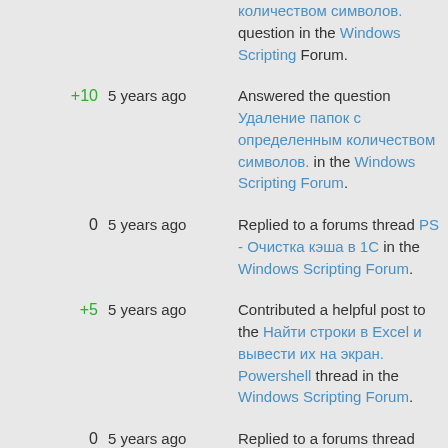количеством символов. question in the Windows Scripting Forum.
+10  5 years ago  Answered the question Удаление папок с определенным количеством символов. in the Windows Scripting Forum.
0  5 years ago  Replied to a forums thread PS - Очистка кэша в 1С in the Windows Scripting Forum.
+5  5 years ago  Contributed a helpful post to the Найти строки в Excel и вывести их на экран. Powershell thread in the Windows Scripting Forum.
0  5 years ago  Replied to a forums thread Powershell...